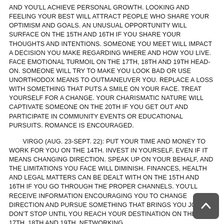AND YOU'LL ACHIEVE PERSONAL GROWTH. LOOKING AND FEELING YOUR BEST WILL ATTRACT PEOPLE WHO SHARE YOUR OPTIMISM AND GOALS. AN UNUSUAL OPPORTUNITY WILL SURFACE ON THE 15TH AND 16TH IF YOU SHARE YOUR THOUGHTS AND INTENTIONS. SOMEONE YOU MEET WILL IMPACT A DECISION YOU MAKE REGARDING WHERE AND HOW YOU LIVE. FACE EMOTIONAL TURMOIL ON THE 17TH, 18TH AND 19TH HEAD-ON. SOMEONE WILL TRY TO MAKE YOU LOOK BAD OR USE UNORTHODOX MEANS TO OUTMANEUVER YOU. REPLACE A LOSS WITH SOMETHING THAT PUTS A SMILE ON YOUR FACE. TREAT YOURSELF FOR A CHANGE. YOUR CHARISMATIC NATURE WILL CAPTIVATE SOMEONE ON THE 20TH IF YOU GET OUT AND PARTICIPATE IN COMMUNITY EVENTS OR EDUCATIONAL PURSUITS. ROMANCE IS ENCOURAGED.
VIRGO (AUG. 23-SEPT. 22): PUT YOUR TIME AND MONEY TO WORK FOR YOU ON THE 14TH. INVEST IN YOURSELF, EVEN IF IT MEANS CHANGING DIRECTION. SPEAK UP ON YOUR BEHALF, AND THE LIMITATIONS YOU FACE WILL DIMINISH. FINANCES, HEALTH AND LEGAL MATTERS CAN BE DEALT WITH ON THE 15TH AND 16TH IF YOU GO THROUGH THE PROPER CHANNELS. YOU'LL RECEIVE INFORMATION ENCOURAGING YOU TO CHANGE DIRECTION AND PURSUE SOMETHING THAT BRINGS YOU JOY. DON'T STOP UNTIL YOU REACH YOUR DESTINATION ON THE 17TH, 18TH AND 19TH. NETWORKING,